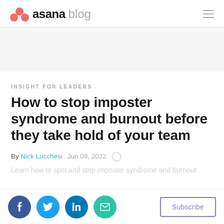asana blog
INSIGHT FOR LEADERS
How to stop imposter syndrome and burnout before they take hold of your team
By Nick Lucchesi   Jun 09, 2022
[Figure (other): Social share buttons: Facebook, Twitter, LinkedIn, Email, and a Subscribe button]
Subscribe